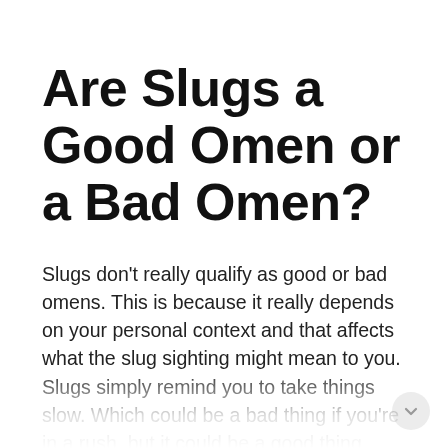Are Slugs a Good Omen or a Bad Omen?
Slugs don't really qualify as good or bad omens. This is because it really depends on your personal context and that affects what the slug sighting might mean to you. Slugs simply remind you to take things slow. Which could be a bad thing if you're in a rush, but it could be a good thing because if you move too fast you're more inclined to make mistakes. The slug omen also predicts and advises